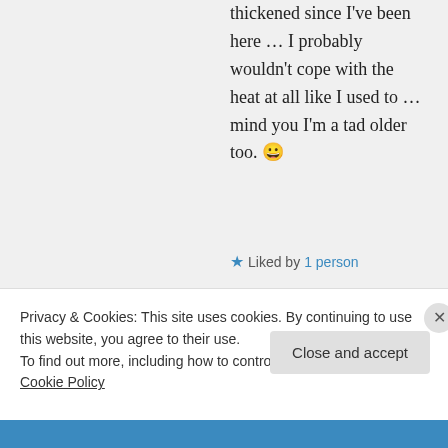thickened since I've been here … I probably wouldn't cope with the heat at all like I used to … mind you I'm a tad older too. 😀
★ Liked by 1 person
↳ Reply
Suzanne on
Privacy & Cookies: This site uses cookies. By continuing to use this website, you agree to their use.
To find out more, including how to control cookies, see here: Cookie Policy
Close and accept